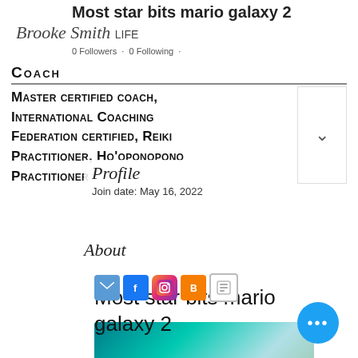Most star bits mario galaxy 2
Brooke Smith LIFE
0 Followers · 0 Following ·
COACH
Master certified coach, International Coaching Federation certified, Reiki Practitioner, Ho'oponopono Practitioner
Profile
Join date: May 16, 2022
About
[Figure (infographic): Row of social media icons: email (blue), Facebook (blue), Instagram (gradient), Blogger (orange), copy/link (gray border)]
Most star bits mario galaxy 2
Most star bits mario galaxy 2
[Figure (photo): Partial teal/turquoise colored image at bottom of page]
[Figure (other): Floating action button with three dots (ellipsis) in blue circle]